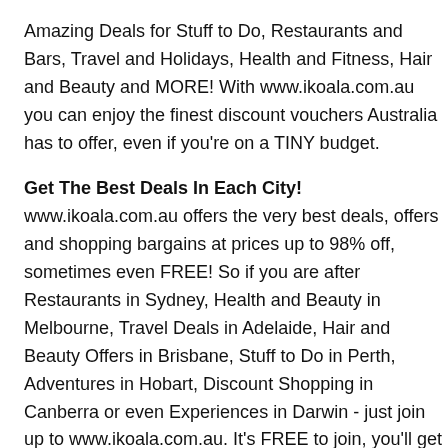Amazing Deals for Stuff to Do, Restaurants and Bars, Travel and Holidays, Health and Fitness, Hair and Beauty and MORE! With www.ikoala.com.au you can enjoy the finest discount vouchers Australia has to offer, even if you're on a TINY budget.
Get The Best Deals In Each City!
www.ikoala.com.au offers the very best deals, offers and shopping bargains at prices up to 98% off, sometimes even FREE! So if you are after Restaurants in Sydney, Health and Beauty in Melbourne, Travel Deals in Adelaide, Hair and Beauty Offers in Brisbane, Stuff to Do in Perth, Adventures in Hobart, Discount Shopping in Canberra or even Experiences in Darwin - just join up to www.ikoala.com.au. It's FREE to join, you'll get an email daily and you'll SAVE BIG TIME with the deals of the day.
Experience New Things to do and Online Shopping Daily Deals!